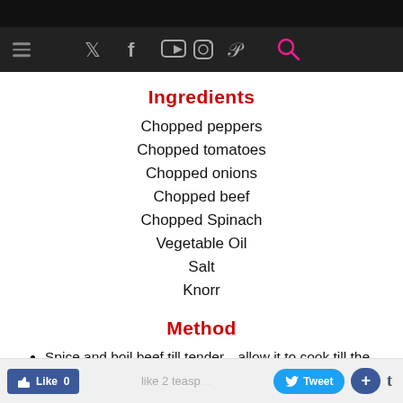Navigation bar with social icons: Twitter, Facebook, YouTube, Instagram, Pinterest, Search
Ingredients
Chopped peppers
Chopped tomatoes
Chopped onions
Chopped beef
Chopped Spinach
Vegetable Oil
Salt
Knorr
Method
Spice and boil beef till tender...allow it to cook till the stock/broth is very little a...
Like 0  Tweet  +  like 2 teasp...  t